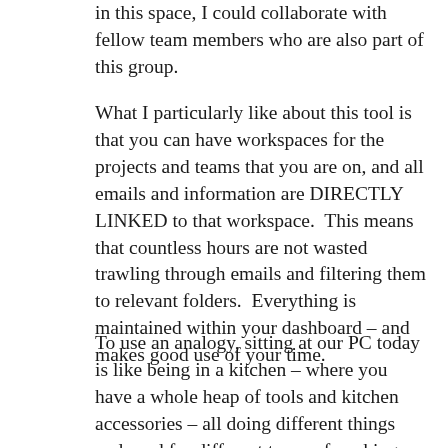in this space, I could collaborate with fellow team members who are also part of this group.
What I particularly like about this tool is that you can have workspaces for the projects and teams that you are on, and all emails and information are DIRECTLY LINKED to that workspace.  This means that countless hours are not wasted trawling through emails and filtering them to relevant folders.  Everything is maintained within your dashboard – and makes good use of your time.
To use an analogy, sitting at our PC today is like being in a kitchen – where you have a whole heap of tools and kitchen accessories – all doing different things and used for different types of cooking and baking.  To add to the frustration,